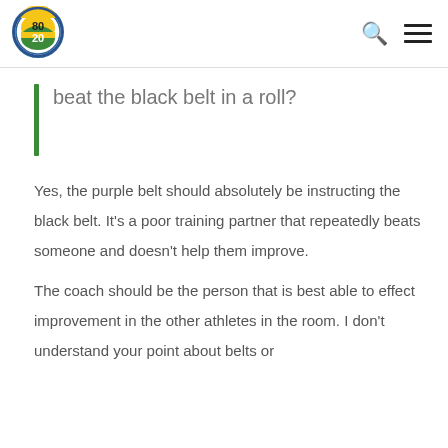[Figure (logo): 80/20 circular logo with green and yellow design]
beat the black belt in a roll?
Yes, the purple belt should absolutely be instructing the black belt. It's a poor training partner that repeatedly beats someone and doesn't help them improve.
The coach should be the person that is best able to effect improvement in the other athletes in the room. I don't understand your point about belts or